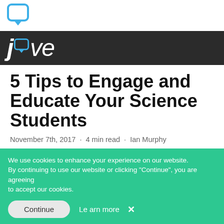[Figure (logo): JoVe speech bubble icon logo in blue]
jove
5 Tips to Engage and Educate Your Science Students
November 7th, 2017 · 4 min read · Ian Murphy
[Figure (photo): Classroom scene with a bearded teacher in white lab coat pointing, students in white lab coats seated at desks]
We use cookies to enhance your experience on our website. By continuing to use our website or clicking “Continue”, you are agreeing to accept our cookies.